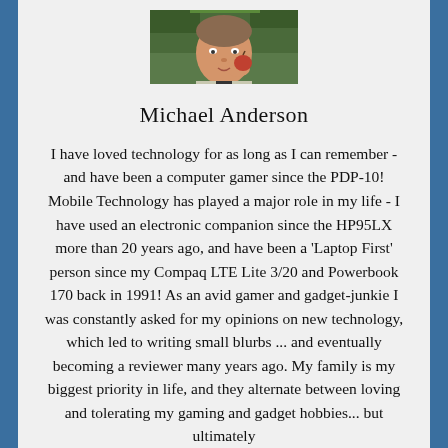[Figure (photo): A man eating an apple outdoors with trees in background]
Michael Anderson
I have loved technology for as long as I can remember - and have been a computer gamer since the PDP-10! Mobile Technology has played a major role in my life - I have used an electronic companion since the HP95LX more than 20 years ago, and have been a 'Laptop First' person since my Compaq LTE Lite 3/20 and Powerbook 170 back in 1991! As an avid gamer and gadget-junkie I was constantly asked for my opinions on new technology, which led to writing small blurbs ... and eventually becoming a reviewer many years ago. My family is my biggest priority in life, and they alternate between loving and tolerating my gaming and gadget hobbies... but ultimately